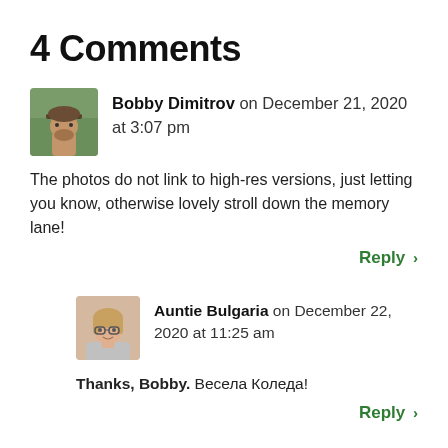4 Comments
Bobby Dimitrov on December 21, 2020 at 3:07 pm
The photos do not link to high-res versions, just letting you know, otherwise lovely stroll down the memory lane!
Reply
Auntie Bulgaria on December 22, 2020 at 11:25 am
Thanks, Bobby. Весела Коледа!
Reply